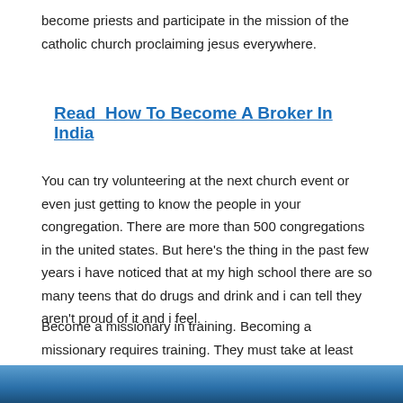become priests and participate in the mission of the catholic church proclaiming jesus everywhere.
Read  How To Become A Broker In India
You can try volunteering at the next church event or even just getting to know the people in your congregation. There are more than 500 congregations in the united states. But here's the thing in the past few years i have noticed that at my high school there are so many teens that do drugs and drink and i can tell they aren't proud of it and i feel.
Become a missionary in training. Becoming a missionary requires training. They must take at least two trips per year outside of the united states.
[Figure (photo): A blue/teal colored photographic image strip at the bottom of the page]